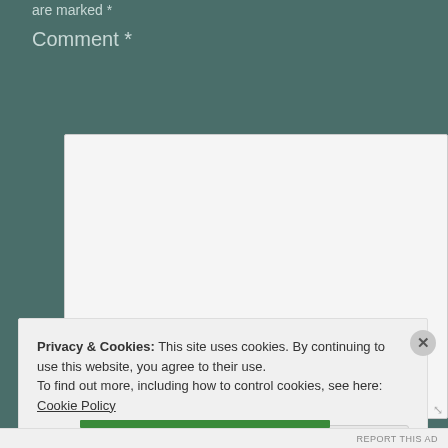are marked *
Comment *
[Figure (screenshot): A large empty comment text area input box with a resize handle in the bottom right corner, on a teal/dark green background.]
Privacy & Cookies: This site uses cookies. By continuing to use this website, you agree to their use.
To find out more, including how to control cookies, see here: Cookie Policy
Close and accept